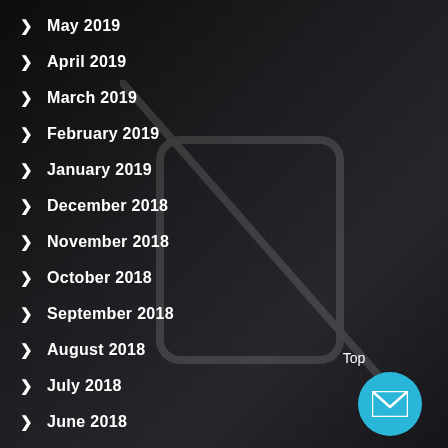> May 2019
> April 2019
> March 2019
> February 2019
> January 2019
> December 2018
> November 2018
> October 2018
> September 2018
> August 2018
> July 2018
> June 2018
> May 2018
Top
[Figure (illustration): Cyan circular email/envelope button icon]